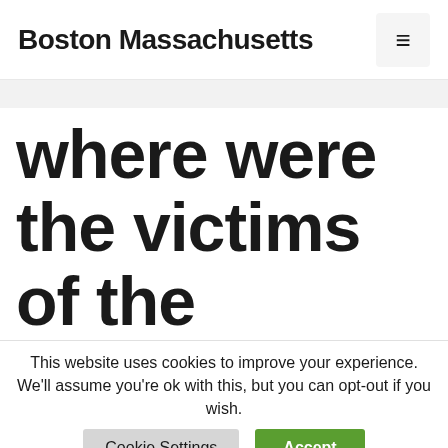Boston Massachusetts
where were the victims of the boston massacre buried
This website uses cookies to improve your experience. We'll assume you're ok with this, but you can opt-out if you wish.